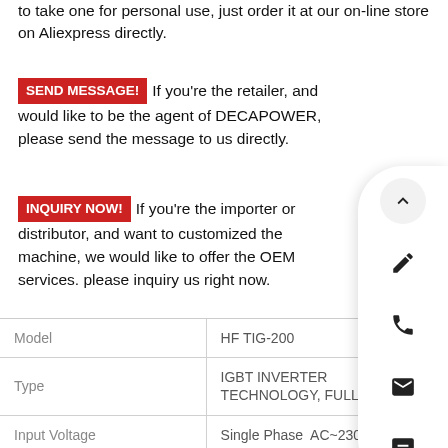to take one for personal use, just order it at our on-line store on Aliexpress directly.
SEND MESSAGE!  If you're the retailer, and would like to be the agent of DECAPOWER, please send the message to us directly.
INQUIRY NOW!  If you're the importer or distributor, and want to customized the machine, we would like to offer the OEM services. please inquiry us right now.
|  |  |
| --- | --- |
| Model | HF TIG-200 |
| Type | IGBT INVERTER TECHNOLOGY, FULL- |
| Input Voltage | Single Phase  AC~230V |
| Frequency | 50/60Hz |